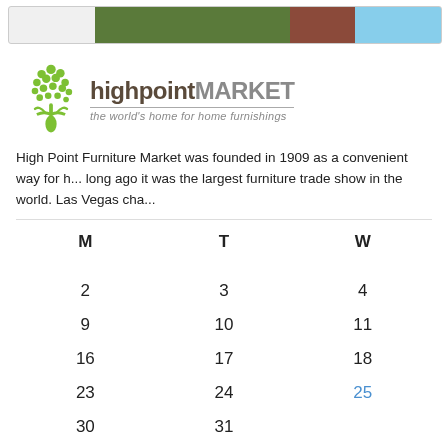[Figure (photo): Top strip showing partial images of outdoor scenes and buildings]
[Figure (logo): High Point Market logo with green tree/person icon and text 'highpoint MARKET - the world's home for home furnishings']
High Point Furniture Market was founded in 1909 as a convenient way for h... long ago it was the largest furniture trade show in the world. Las Vegas cha...
| M | T | W |
| --- | --- | --- |
| 2 | 3 | 4 |
| 9 | 10 | 11 |
| 16 | 17 | 18 |
| 23 | 24 | 25 |
| 30 | 31 |  |